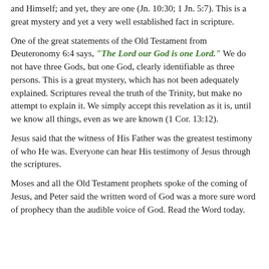and Himself; and yet, they are one (Jn. 10:30; 1 Jn. 5:7). This is a great mystery and yet a very well established fact in scripture.
One of the great statements of the Old Testament from Deuteronomy 6:4 says, "The Lord our God is one Lord." We do not have three Gods, but one God, clearly identifiable as three persons. This is a great mystery, which has not been adequately explained. Scriptures reveal the truth of the Trinity, but make no attempt to explain it. We simply accept this revelation as it is, until we know all things, even as we are known (1 Cor. 13:12).
Jesus said that the witness of His Father was the greatest testimony of who He was. Everyone can hear His testimony of Jesus through the scriptures.
Moses and all the Old Testament prophets spoke of the coming of Jesus, and Peter said the written word of God was a more sure word of prophecy than the audible voice of God. Read the Word today.